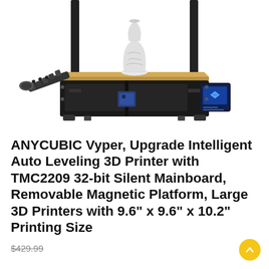[Figure (photo): ANYCUBIC Vyper 3D printer shown from the front at a slight angle. The printer has a black frame with vertical rails, a gold/tan magnetic print bed, a white decorative vase printed on the bed, a cable chain arm on the left side, and a touchscreen display on the right side. The background is white.]
ANYCUBIC Vyper, Upgrade Intelligent Auto Leveling 3D Printer with TMC2209 32-bit Silent Mainboard, Removable Magnetic Platform, Large 3D Printers with 9.6" x 9.6" x 10.2" Printing Size
$429.99